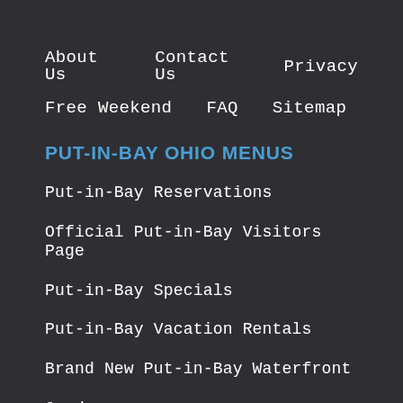About Us    Contact Us    Privacy
Free Weekend    FAQ    Sitemap
PUT-IN-BAY OHIO MENUS
Put-in-Bay Reservations
Official Put-in-Bay Visitors Page
Put-in-Bay Specials
Put-in-Bay Vacation Rentals
Brand New Put-in-Bay Waterfront
Condos